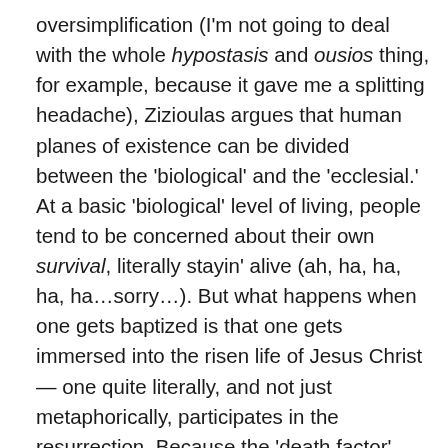oversimplification (I'm not going to deal with the whole hypostasis and ousios thing, for example, because it gave me a splitting headache), Zizioulas argues that human planes of existence can be divided between the 'biological' and the 'ecclesial.' At a basic 'biological' level of living, people tend to be concerned about their own survival, literally stayin' alive (ah, ha, ha, ha, ha…sorry…). But what happens when one gets baptized is that one gets immersed into the risen life of Jesus Christ — one quite literally, and not just metaphorically, participates in the resurrection. Because the 'death factor' gets taken out of the equation, one's existence is not merely biological and oriented toward survival; it is now ecclesial and eucharistic. In other words, one continues to participate in the risen life of Christ by sacramentally eating his flesh and drinking his blood. This doesn't just happen at an